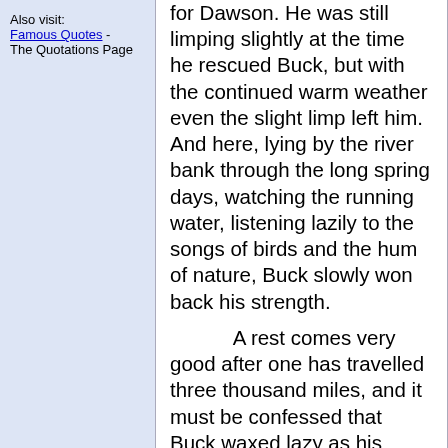Also visit: Famous Quotes - The Quotations Page
for Dawson. He was still limping slightly at the time he rescued Buck, but with the continued warm weather even the slight limp left him. And here, lying by the river bank through the long spring days, watching the running water, listening lazily to the songs of birds and the hum of nature, Buck slowly won back his strength.
A rest comes very good after one has travelled three thousand miles, and it must be confessed that Buck waxed lazy as his wounds healed, his muscles swelled out, and the flesh came back to cover his bones. For that matter, they were all loafing,--Buck, John Thornton, and Skeet and Nig,--waiting for the raft to come that was to carry them down to Dawson. Skeet was a little Irish